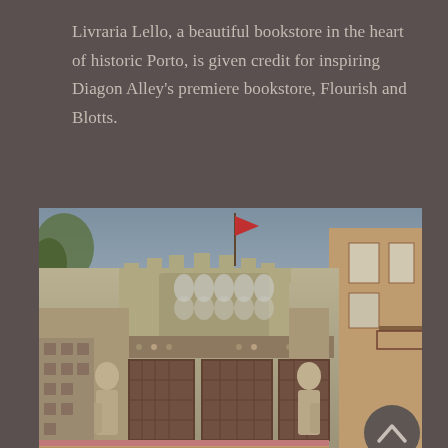Livraria Lello, a beautiful bookstore in the heart of historic Porto, is given credit for inspiring Diagon Alley's premiere bookstore, Flourish and Blotts.
[Figure (photo): Exterior facade of Livraria Lello bookstore in Porto, Portugal. The ornate Neo-Gothic building facade features intricate stone carvings, statues of robed figures on either side of large multi-paned windows, a decorative frieze with the bookstore name 'LELLO & IRMAO' in golden letters, Gothic architectural details including pointed arches, tracery, and battlements at the top, and a red flag flying above. The photo is taken from a low angle looking up.]